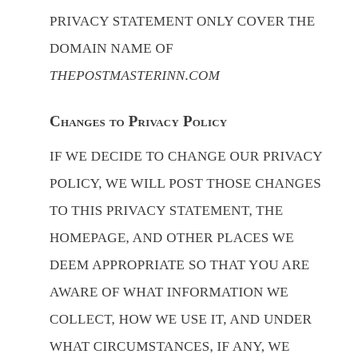PRIVACY STATEMENT ONLY COVER THE DOMAIN NAME OF THEPOSTMASTERINN.COM
Changes to Privacy Policy
IF WE DECIDE TO CHANGE OUR PRIVACY POLICY, WE WILL POST THOSE CHANGES TO THIS PRIVACY STATEMENT, THE HOMEPAGE, AND OTHER PLACES WE DEEM APPROPRIATE SO THAT YOU ARE AWARE OF WHAT INFORMATION WE COLLECT, HOW WE USE IT, AND UNDER WHAT CIRCUMSTANCES, IF ANY, WE DISCLOSE IT. WE RESERVE THE RIGHT TO MODIFY THIS PRIVACY STATEMENT AT ANY TIME, SO PLEASE REVIEW IT FREQUENTLY. IF WE MAKE MATERIAL CHANGES TO THIS POLICY, WE WILL NOTIFY YOU HERE, BY EMAIL, OR BY MEANS OF A NOTICE ON OUR HOMEPAGE.